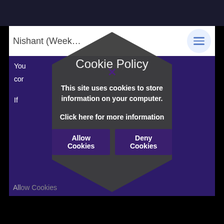[Figure (screenshot): Screenshot of a web browser showing a cookie policy modal dialog overlaid on a purple/dark website. The modal is shaped like a hexagon and contains a title 'Cookie Policy', body text, and two buttons 'Allow Cookies' and 'Deny Cookies'. Behind the modal, partial text 'Nishant (Week...' is visible in the navigation bar, along with a hamburger menu button. A purple 'X' close button appears at the top of the modal.]
Cookie Policy
This site uses cookies to store information on your computer.
Click here for more information
Allow Cookies
Deny Cookies